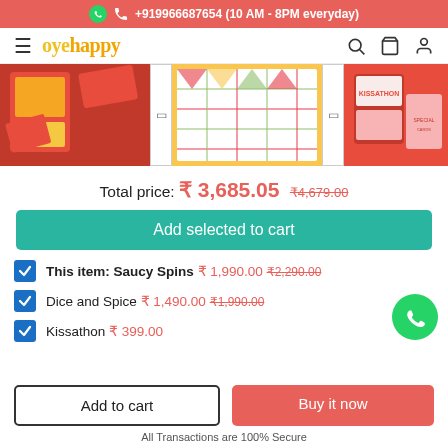+919966687654 (10 AM - 8PM everyday)
[Figure (screenshot): OyeHappy website navigation bar with hamburger menu, logo, search, cart, and user icons]
[Figure (photo): Three product images: Saucy Spins game box (red), Dice and Spice board game (yellow/green), Kissathon card game (red/pink)]
Total price: ₹ 3,685.05  ₹4,679.00
Add selected to cart
This item: Saucy Spins  ₹ 1,990.00  ₹2,290.00
Dice and Spice  ₹ 1,490.00  ₹1,990.00
Kissathon  ₹ 399.00
Add to cart
Buy it now
All Transactions are 100% Secure